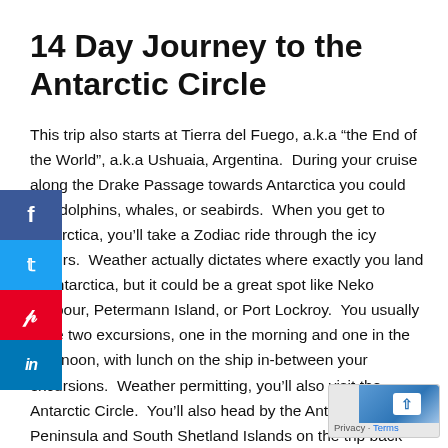14 Day Journey to the Antarctic Circle
This trip also starts at Tierra del Fuego, a.k.a “the End of the World”, a.k.a Ushuaia, Argentina.  During your cruise along the Drake Passage towards Antarctica you could see dolphins, whales, or seabirds.  When you get to Antarctica, you’ll take a Zodiac ride through the icy waters.  Weather actually dictates where exactly you land in Antarctica, but it could be a great spot like Neko Harbour, Petermann Island, or Port Lockroy.  You usually have two excursions, one in the morning and one in the afternoon, with lunch on the ship in-between your excursions.  Weather permitting, you’ll also visit the Antarctic Circle.  You’ll also head by the Antarctica Peninsula and South Shetland Islands on the trip back north.